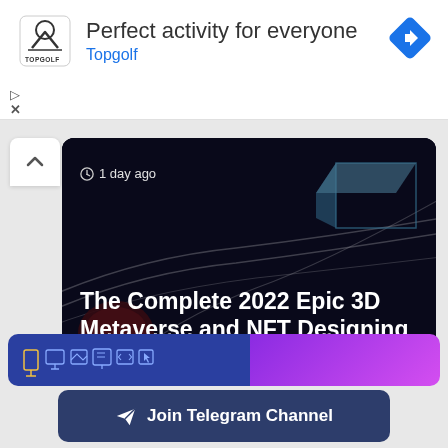[Figure (screenshot): Topgolf advertisement banner with logo showing a golf ball above V-shape design, headline text 'Perfect activity for everyone', brand name 'Topgolf' in blue, navigation diamond icon top-right, media play and close controls bottom-left]
[Figure (screenshot): Dark course card showing a 3D metaverse track scene with blue geometric house shape, timestamp '1 day ago', bold white title 'The Complete 2022 Epic 3D Metaverse and NFT Designing']
[Figure (screenshot): Bottom strip with dark blue left section showing circuit/tech icons and purple gradient right section]
Join Telegram Channel